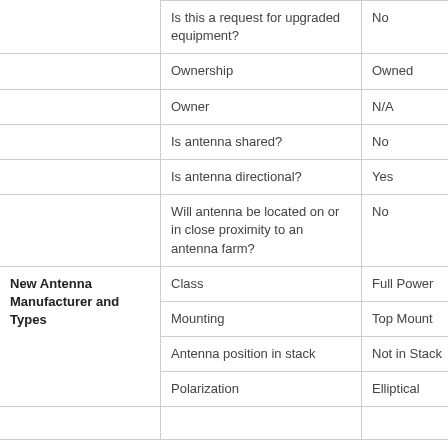|  | Field | Value |
| --- | --- | --- |
|  | Is this a request for upgraded equipment? | No |
|  | Ownership | Owned |
|  | Owner | N/A |
|  | Is antenna shared? | No |
|  | Is antenna directional? | Yes |
|  | Will antenna be located on or in close proximity to an antenna farm? | No |
| New Antenna Manufacturer and Types | Class | Full Power |
|  | Mounting | Top Mount |
|  | Antenna position in stack | Not in Stack |
|  | Polarization | Elliptical |